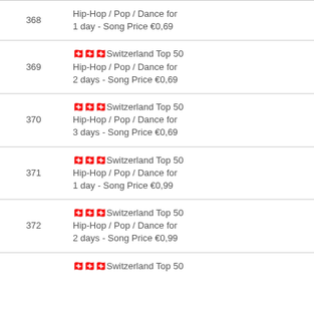| # | Description | Price |
| --- | --- | --- |
| 368 | 🇨🇭🇨🇭🇨🇭Switzerland Top 50 Hip-Hop / Pop / Dance for 1 day - Song Price €0,69 | 195.00 |
| 369 | 🇨🇭🇨🇭🇨🇭Switzerland Top 50 Hip-Hop / Pop / Dance for 2 days - Song Price €0,69 | 320.00 |
| 370 | 🇨🇭🇨🇭🇨🇭Switzerland Top 50 Hip-Hop / Pop / Dance for 3 days - Song Price €0,69 | 480.00 |
| 371 | 🇨🇭🇨🇭🇨🇭Switzerland Top 50 Hip-Hop / Pop / Dance for 1 day - Song Price €0,99 | 210.00 |
| 372 | 🇨🇭🇨🇭🇨🇭Switzerland Top 50 Hip-Hop / Pop / Dance for 2 days - Song Price €0,99 | 400.00 |
| 373 | 🇨🇭🇨🇭🇨🇭Switzerland Top 50... |  |